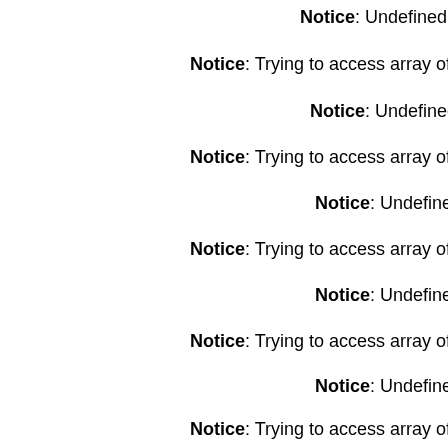Notice: Undefined offse
Notice: Trying to access array offset on
Notice: Undefined offse
Notice: Trying to access array offset on
Notice: Undefined offse
Notice: Trying to access array offset on
Notice: Undefined offse
Notice: Trying to access array offset on
Notice: Undefined offse
Notice: Trying to access array offset on
Notice: Undefined offse
Notice: Trying to access array offset on
Notice: Undefined offse